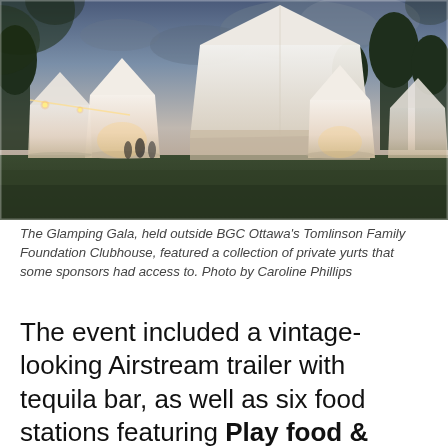[Figure (photo): Evening outdoor event photo showing multiple white glamping tents/yurts arranged on grass, with a large white peak tent in the background, warm lights illuminating the tents, people visible, trees and dramatic cloudy sky in background.]
The Glamping Gala, held outside BGC Ottawa's Tomlinson Family Foundation Clubhouse, featured a collection of private yurts that some sponsors had access to. Photo by Caroline Phillips
The event included a vintage-looking Airstream trailer with tequila bar, as well as six food stations featuring Play food & wine, PURE Kitchen, Coconut Lagoon, La Bottega, Town and North & Navy. North &